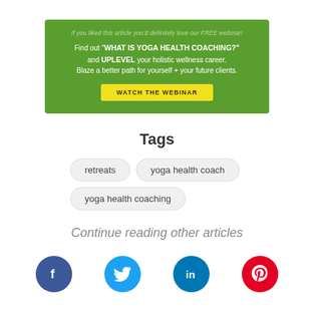[Figure (infographic): Green promotional banner for a free webinar about yoga health coaching with a yellow 'WATCH THE WEBINAR' button]
Tags
retreats
yoga health coach
yoga health coaching
Continue reading other articles
[Figure (infographic): Social media share icons: Facebook, Twitter, LinkedIn, Pinterest]